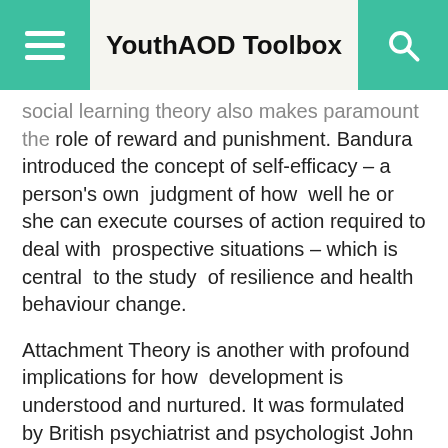YouthAOD Toolbox
Social learning theory also makes paramount the role of reward and punishment. Bandura introduced the concept of self-efficacy – a person's own judgment of how well he or she can execute courses of action required to deal with prospective situations – which is central to the study of resilience and health behaviour change.
Attachment Theory is another with profound implications for how development is understood and nurtured. It was formulated by British psychiatrist and psychologist John Bowlby and further developed by American developmental psychologist Mary Ainsworth (see Bretherton, 1992).
Bowlby's original theory held that human infants